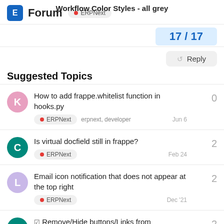Workflow Color Styles - all grey
E Forum • ERPNext
17 / 17
Reply
Suggested Topics
How to add frappe.whitelist function in hooks.py | ERPNext erpnext, developer | Jun 6 | 0
Is virtual docfield still in frappe? | ERPNext | Feb 24 | 2
Email icon notification that does not appear at the top right | ERPNext | Dec '21 | 2
Remove/Hide buttons/Links from ... | 2